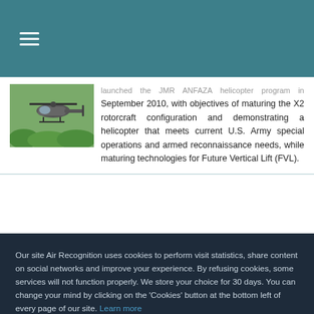≡ (hamburger menu)
[Figure (photo): Helicopter (X2 rotorcraft) in flight over green trees]
…launched the JMR ANFAZA helicopter program in September 2010, with objectives of maturing the X2 rotorcraft configuration and demonstrating a helicopter that meets current U.S. Army special operations and armed reconnaissance needs, while maturing technologies for Future Vertical Lift (FVL).
Our site Air Recognition uses cookies to perform visit statistics, share content on social networks and improve your experience. By refusing cookies, some services will not function properly. We store your choice for 30 days. You can change your mind by clicking on the 'Cookies' button at the bottom left of every page of our site. Learn more
Settings
Accept all
Refuse all